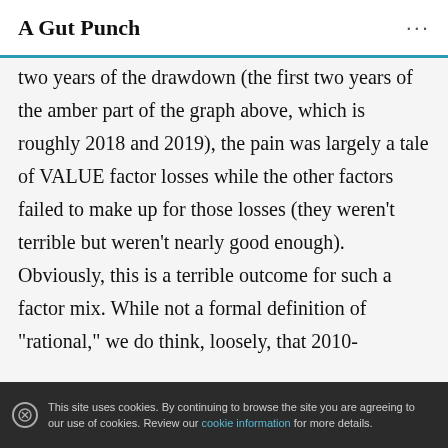A Gut Punch
two years of the drawdown (the first two years of the amber part of the graph above, which is roughly 2018 and 2019), the pain was largely a tale of VALUE factor losses while the other factors failed to make up for those losses (they weren't terrible but weren't nearly good enough). Obviously, this is a terrible outcome for such a factor mix. While not a formal definition of "rational," we do think, loosely, that 2010-
This site uses cookies. By continuing to browse the site you are agreeing to our use of cookies. Review our cookie information for more details.